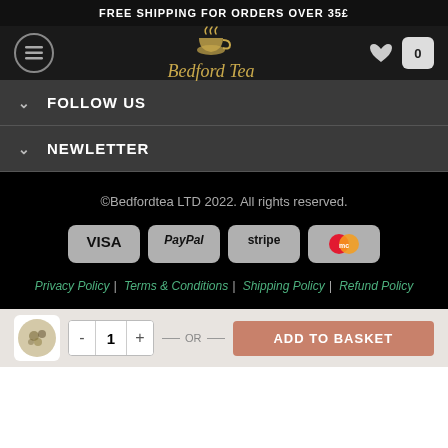FREE SHIPPING FOR ORDERS OVER 35£
[Figure (logo): Bedford Tea logo with gold teacup and cursive text on dark background, with hamburger menu icon, heart icon, and cart showing 0]
FOLLOW US
NEWLETTER
©Bedfordtea LTD 2022. All rights reserved.
[Figure (infographic): Payment method badges: VISA, PayPal, stripe, MasterCard on grey rounded rectangles]
Privacy Policy | Terms & Conditions | Shipping Policy | Refund Policy